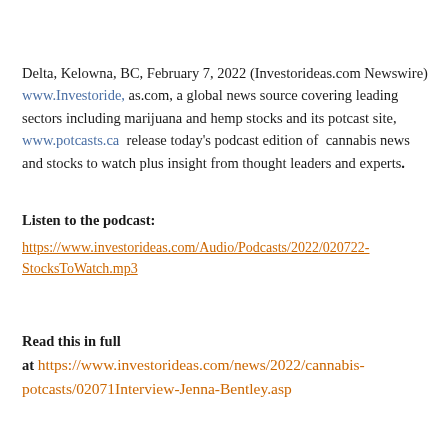Delta, Kelowna, BC, February 7, 2022 (Investorideas.com Newswire) www.Investoride, as.com, a global news source covering leading sectors including marijuana and hemp stocks and its potcast site, www.potcasts.ca release today's podcast edition of cannabis news and stocks to watch plus insight from thought leaders and experts.
Listen to the podcast:
https://www.investorideas.com/Audio/Podcasts/2022/020722-StocksToWatch.mp3
Read this in full at https://www.investorideas.com/news/2022/cannabis-potcasts/02071Interview-Jenna-Bentley.asp